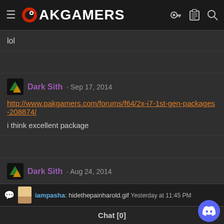PAKGAMERS
lol
Dark Sith · Sep 17, 2014
http://www.pakgamers.com/forums/f64/2x-i7-1st-gen-packages-208874/
i think excellent package
Dark Sith · Aug 24, 2014
iampasha: hidethepainharold.gif Yesterday at 11:45 PM
Chat [0]